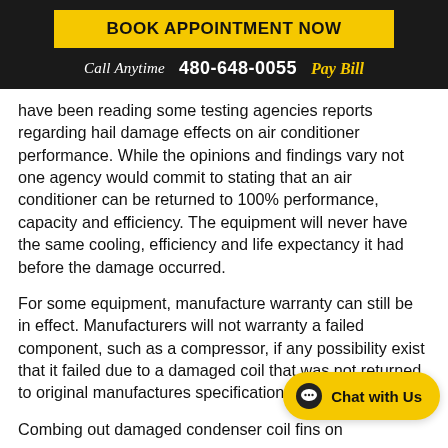BOOK APPOINTMENT NOW
Call Anytime  480-648-0055  Pay Bill
have been reading some testing agencies reports regarding hail damage effects on air conditioner performance.  While the opinions and findings vary not one agency would commit to stating that an air conditioner can be returned to 100% performance, capacity and efficiency.  The equipment will never have the same cooling, efficiency and life expectancy it had before the damage occurred.
For some equipment, manufacture warranty can still be in effect.  Manufacturers will not warranty a failed component, such as a compressor, if any possibility exist that it failed due to a damaged coil that was not returned to original manufactures specifications.
Combing out damaged condenser coil fins on